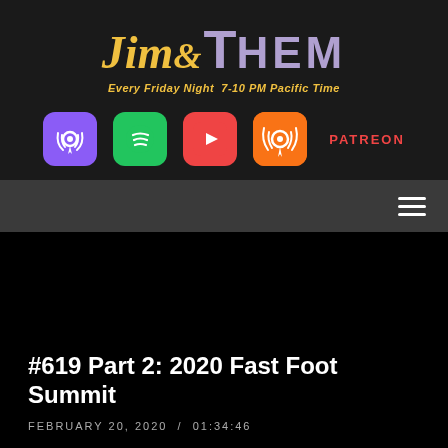[Figure (logo): Jim & Them podcast logo with yellow italic script 'Jim&' and purple bold 'THEM', tagline 'Every Friday Night 7-10 PM Pacific Time']
[Figure (infographic): Row of platform icons: Apple Podcasts (purple), Spotify (green), YouTube (red), Overcast (orange), and PATREON text in red]
#619 Part 2: 2020 Fast Foot Summit
FEBRUARY 20, 2020 / 01:34:46